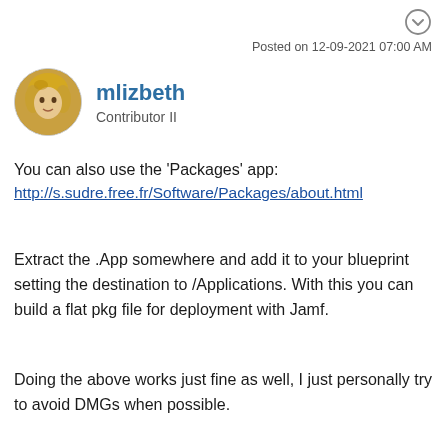Posted on 12-09-2021 07:00 AM
mlizbeth
Contributor II
You can also use the 'Packages' app:
http://s.sudre.free.fr/Software/Packages/about.html
Extract the .App somewhere and add it to your blueprint setting the destination to /Applications. With this you can build a flat pkg file for deployment with Jamf.
Doing the above works just fine as well, I just personally try to avoid DMGs when possible.